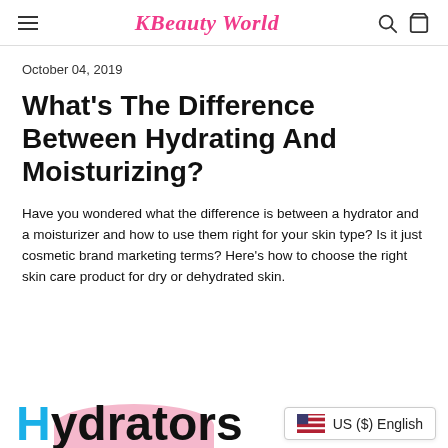KBeauty World
October 04, 2019
What's The Difference Between Hydrating And Moisturizing?
Have you wondered what the difference is between a hydrator and a moisturizer and how to use them right for your skin type? Is it just cosmetic brand marketing terms? Here's how to choose the right skin care product for dry or dehydrated skin.
[Figure (illustration): Pink oval shape with large bold text 'Hydrators' partially visible at bottom, with a cyan/blue 'H' letter]
US ($) English